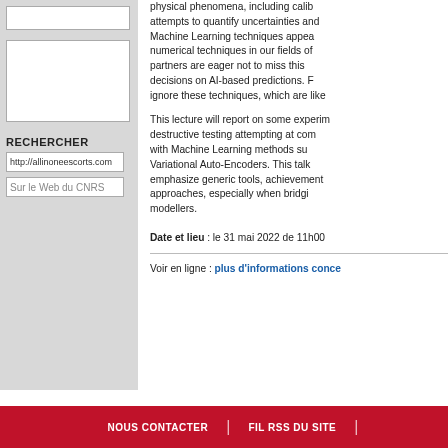physical phenomena, including calibration attempts to quantify uncertainties and Machine Learning techniques appearing as numerical techniques in our fields of partners are eager not to miss this decisions on AI-based predictions. F ignore these techniques, which are like
This lecture will report on some experiments, destructive testing attempting at combining with Machine Learning methods such as Variational Auto-Encoders. This talk will emphasize generic tools, achievements and approaches, especially when bridging modellers.
Date et lieu : le 31 mai 2022 de 11h00
Voir en ligne : plus d'informations conce
RECHERCHER
http://allinoneescorts.com
Sur le Web du CNRS
NOUS CONTACTER | FIL RSS DU SITE